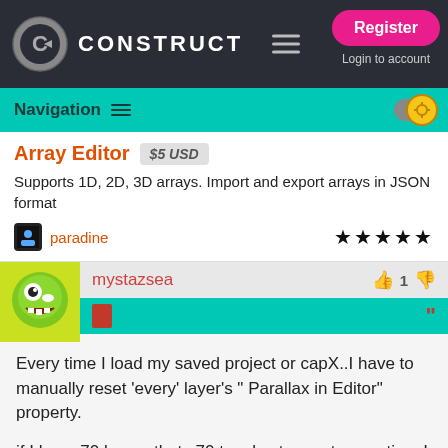CONSTRUCT — Register / Login to account
Navigation
Array Editor  $5 USD
Supports 1D, 2D, 3D arrays. Import and export arrays in JSON format
paradine ★★★★★
mystazsea — 👍 1 👎
Every time I load my saved project or capX..I have to manually reset 'every' layer's " Parallax in Editor" property.

if I have 70 layers thats 70 toggles to reset every time I load my capx...and if I have 30 layouts..thats a lot of unnecessary toggling...